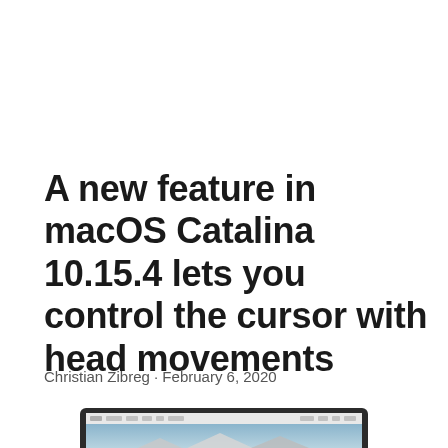A new feature in macOS Catalina 10.15.4 lets you control the cursor with head movements
Christian Zibreg · February 6, 2020
[Figure (screenshot): Partial screenshot of a MacBook laptop showing macOS desktop with a mountain landscape wallpaper and a menu bar at the top]